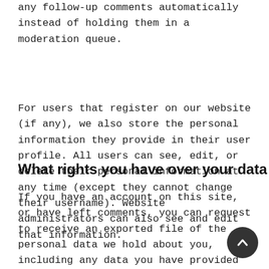any follow-up comments automatically instead of holding them in a moderation queue.
For users that register on our website (if any), we also store the personal information they provide in their user profile. All users can see, edit, or delete their personal information at any time (except they cannot change their username). Website administrators can also see and edit that information.
What rights you have over your data
If you have an account on this site, or have left comments, you can request to receive an exported file of the personal data we hold about you, including any data you have provided to us. You can also request that we erase any personal data we hold about you. This does not include any data we are obliged to keep for administrative, legal, or security purposes.